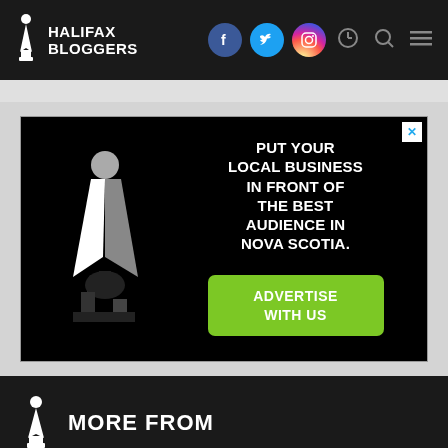HALIFAX BLOGGERS
[Figure (screenshot): Halifax Bloggers advertisement: pen nib logo graphic on black background with text 'PUT YOUR LOCAL BUSINESS IN FRONT OF THE BEST AUDIENCE IN NOVA SCOTIA.' and green 'ADVERTISE WITH US' button]
MORE FROM